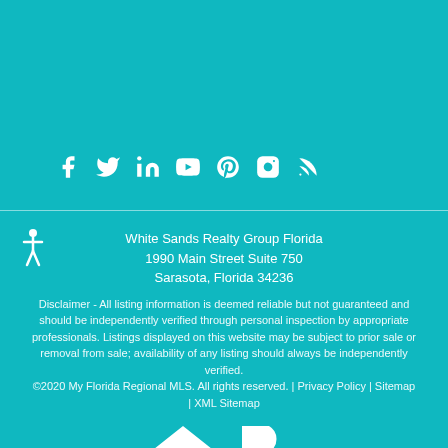[Figure (infographic): Row of social media icons: Facebook, Twitter, LinkedIn, YouTube, Pinterest, Instagram, RSS feed]
White Sands Realty Group Florida
1990 Main Street Suite 750
Sarasota, Florida 34236
Disclaimer - All listing information is deemed reliable but not guaranteed and should be independently verified through personal inspection by appropriate professionals. Listings displayed on this website may be subject to prior sale or removal from sale; availability of any listing should always be independently verified.
©2020 My Florida Regional MLS. All rights reserved. | Privacy Policy | Sitemap | XML Sitemap
[Figure (logo): Equal Housing Opportunity logo and REALTOR logo]
Log in